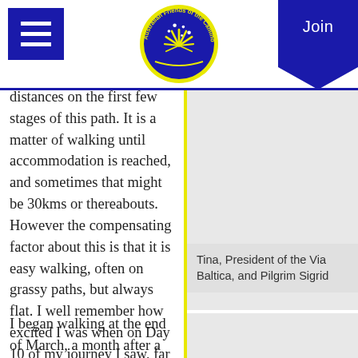[Figure (logo): Australian Friends of the Camino logo — circular blue badge with yellow text around the rim and a yellow stylized Southern Cross / shell motif in the center]
distances on the first few stages of this path. It is a matter of walking until accommodation is reached, and sometimes that might be 30kms or thereabouts. However the compensating factor about this is that it is easy walking, often on grassy paths, but always flat. I well remember how excited I was when on Day 10 of my journey I saw, far in the distance, some mountains! On these first weeks the path goes through farmland, forests, and along some minor roads, from one charming village to another.
[Figure (photo): Loading image placeholder (spinner visible) — photo of Tina, President of the Via Baltica, and Pilgrim Sigrid]
Tina, President of the Via Baltica, and Pilgrim Sigrid
I began walking at the end of March, a month after a